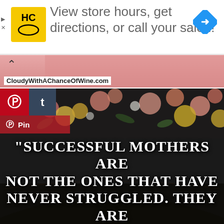[Figure (infographic): Advertisement banner with HC (Hair Club) logo, text 'View store hours, get directions, or call your salon!', and a blue navigation arrow icon on the right.]
[Figure (infographic): Collapsed website bar with pink/salmon background, caret/chevron up icon, and CloudyWithAChanceOfWine.com URL label at bottom left.]
[Figure (infographic): Floral dark background image with a large dark arch/semicircle and overlaid white uppercase quote text reading: '"Successful mothers are not the ones that have never struggled. They are'. Pinterest and Tumblr social share buttons overlay the top-left corner, with a Pin button below them.]